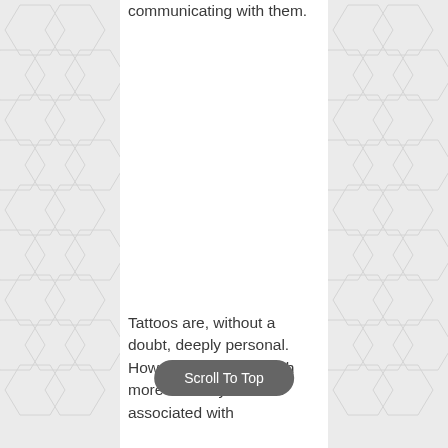communicating with them.
Tattoos are, without a doubt, deeply personal. However, learning much more about symbolism associated with
Scroll To Top